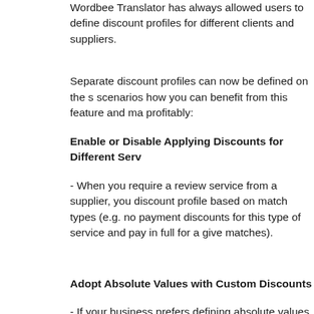Wordbee Translator has always allowed users to define discount profiles for different clients and suppliers.
Separate discount profiles can now be defined on the s… scenarios how you can benefit from this feature and ma… profitably:
Enable or Disable Applying Discounts for Different Serv…
- When you require a review service from a supplier, you… discount profile based on match types (e.g. no payment… discounts for this type of service and pay in full for a give… matches).
Adopt Absolute Values with Custom Discounts
- If your business prefers defining absolute values (certa… types), custom discounts allow you to adopt Wordbee Tr…